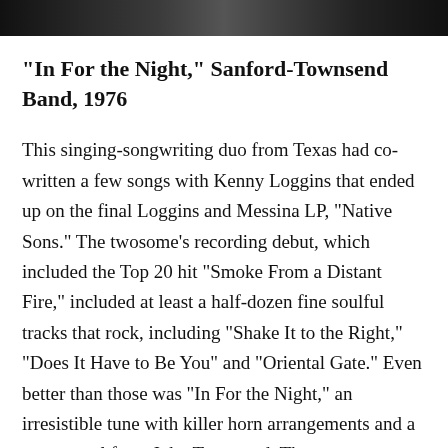[Figure (photo): Black and white photo strip at top of page, partially cropped]
“In For the Night,” Sanford-Townsend Band, 1976
This singing-songwriting duo from Texas had co-written a few songs with Kenny Loggins that ended up on the final Loggins and Messina LP, “Native Sons.” The twosome’s recording debut, which included the Top 20 hit “Smoke From a Distant Fire,” included at least a half-dozen fine soulful tracks that rock, including “Shake It to the Right,” “Does It Have to Be You” and “Oriental Gate.” Even better than those was “In For the Night,” an irresistible tune with killer horn arrangements and a great vocal from John Townsend. The